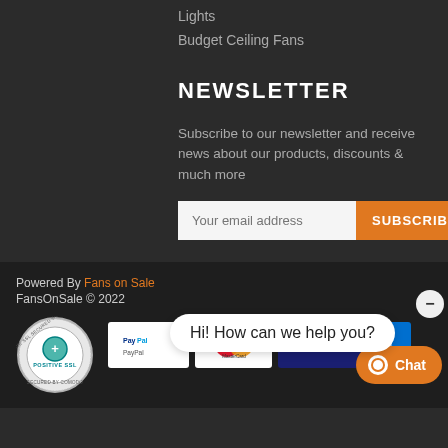Lights
Budget Ceiling Fans
NEWSLETTER
Subscribe to our newsletter and receive news about our products, discounts & much more
Your email address
SUBSCRIBE
Powered By Fans on Sale
FansOnSale © 2022
Hi! How can we help you?
[Figure (logo): Positive SSL Secured Website badge with green plus icon]
[Figure (logo): PayPal payment icon]
[Figure (logo): MasterCard payment icon]
[Figure (logo): VISA payment icon]
[Figure (logo): American Express payment icon (partially visible)]
Chat